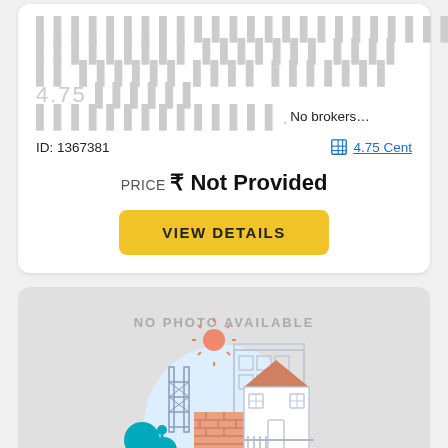…xxxxxxxxxxxxxxxxxx xxxxxxxxx xxx xxxxxx xx xxxx x xxxxxxx 4.75 xxxxxx xxxxxxxxxxxxxx.No brokers…
ID: 1367381
4.75 Cent
PRICE ₹ Not Provided
VIEW DETAILS
[Figure (illustration): No photo available placeholder with a house construction illustration showing trees, bricks, fence, house roof, sun, and building scaffolding on a light blue circular background]